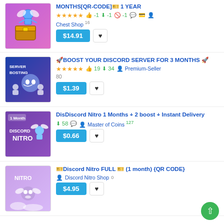MONTHS[QR-CODE]🎫 1 YEAR | ★★★★★ 👍-1 ⬇-1 🚫-1 💬 💳 👤 | Chest Shop 16 | $14.91
🚀BOOST YOUR DISCORD SERVER FOR 3 MONTHS 🚀 | ★★★★★ 👍19 ⬇34 👤 Premium-Seller 80 | $1.39
DisDiscord Nitro 1 Months + 2 boost + Instant Delivery | ⬇58 💬 👤 Master of Coins 127 | $0.66
🎫Discord Nitro FULL 🎫 (1 month) {QR CODE} | 👤 Discord Nitro Shop 0 | $4.95